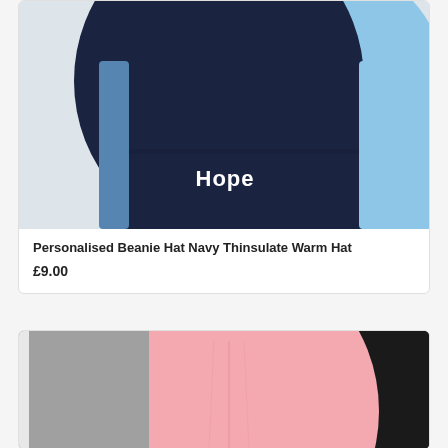[Figure (photo): Photo of beanie hats stacked together: a navy blue hat in front with 'Hope' embroidered in white text on the cuff, a denim blue hat behind it, and a light blue hat to the right, on a white background.]
Personalised Beanie Hat Navy Thinsulate Warm Hat
£9.00
[Figure (photo): Photo of beanie hats: a pink beanie hat in the center front, a grey hat on the left, and a black hat on the right, on a white background.]